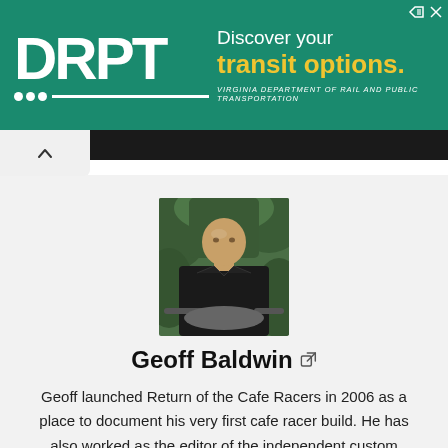[Figure (infographic): DRPT advertisement banner with teal/green background. Logo shows 'DRPT' in white bold text with dots and line below. Text reads 'Discover your transit options.' with subtitle 'VIRGINIA DEPARTMENT OF RAIL AND PUBLIC TRANSPORTATION']
[Figure (photo): Profile photo of Geoff Baldwin, a bald man in a dark jacket standing near a motorcycle outdoors with green foliage in background]
Geoff Baldwin
Geoff launched Return of the Cafe Racers in 2006 as a place to document his very first cafe racer build. He has also worked as the editor of the independent custom motorcycle magazine Tank Moto,
contributed to other online publication like BikeExif and co-hosted several